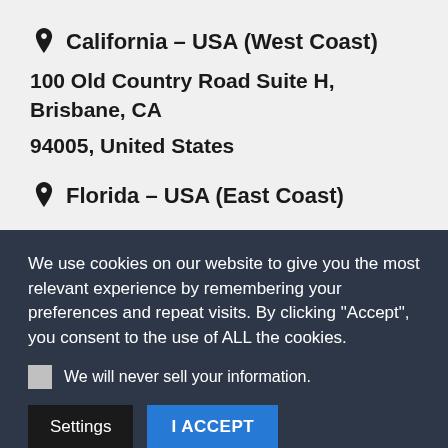California – USA (West Coast)
100 Old Country Road Suite H, Brisbane, CA 94005, United States
Florida – USA (East Coast)
We use cookies on our website to give you the most relevant experience by remembering your preferences and repeat visits. By clicking "Accept", you consent to the use of ALL the cookies.
We will never sell your information.
Settings
I ACCEPT
Leave a message